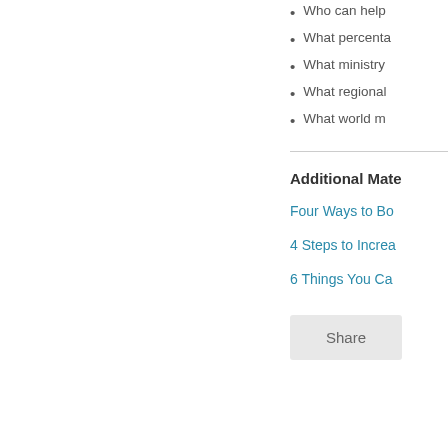Who can help
What percenta
What ministry
What regional
What world m
Additional Mate
Four Ways to Bo
4 Steps to Increa
6 Things You Ca
Share